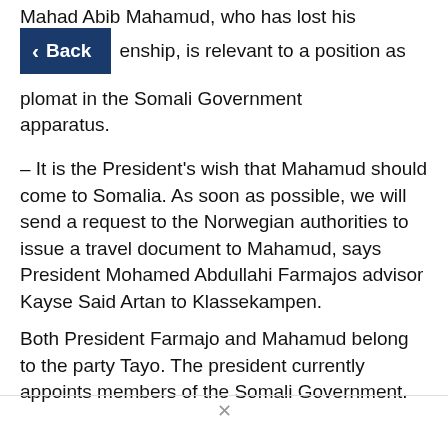Mahad Abib Mahamud, who has lost his citizenship, is relevant to a position as a diplomat in the Somali Government apparatus.
[Figure (screenshot): Dark navy blue Back navigation button with left-pointing chevron arrow and 'Back' label in white text]
– It is the President's wish that Mahamud should come to Somalia. As soon as possible, we will send a request to the Norwegian authorities to issue a travel document to Mahamud, says President Mohamed Abdullahi Farmajos advisor Kayse Said Artan to Klassekampen.
Both President Farmajo and Mahamud belong to the party Tayo. The president currently appoints members of the Somali Government.